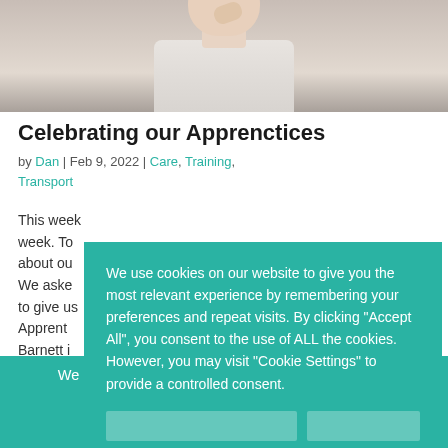[Figure (photo): A person photographed from the shoulders up, appearing to rest their hand near their face, in an indoor setting.]
Celebrating our Apprenctices
by Dan | Feb 9, 2022 | Care, Training, Transport
This week... week. To... about ou... We aske... to give us... Apprent... Barnett i... here at...
We use cookies on our website to give you the most relevant experience by remembering your preferences and repeat visits. By clicking “Accept All”, you consent to the use of ALL the cookies. However, you may visit “Cookie Settings” to provide a controlled consent.
We have been inspected and rated as ‘Good’ by the Care Quality Commission
Read Report